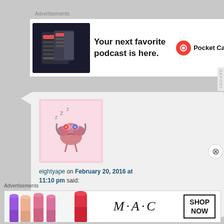Advertisements
[Figure (screenshot): Pocket Casts podcast app advertisement showing app screenshot and text 'Your next favorite podcast is here.' with Pocket Casts logo]
[Figure (screenshot): Comment from user 'eightyape' on February 20, 2016 at 11:10 pm with cartoon brain avatar. Text says: more criminology....https://en.wikipedia.org/wiki/Dark... and this list is good,not so sure about the forum to be frank...yu]
Advertisements
[Figure (screenshot): MAC cosmetics advertisement banner showing lipsticks and 'SHOP NOW' button]